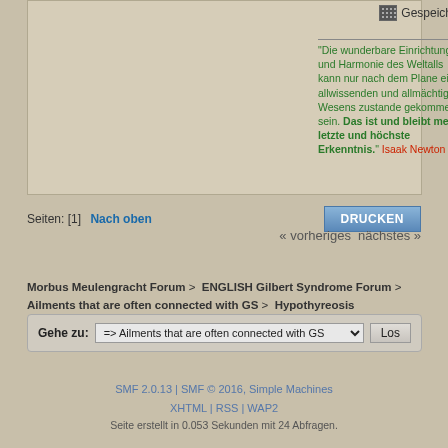Gespeichert
"Die wunderbare Einrichtung und Harmonie des Weltalls kann nur nach dem Plane eines allwissenden und allmächtigen Wesens zustande gekommen sein. Das ist und bleibt meine letzte und höchste Erkenntnis." Isaak Newton
Seiten: [1]  Nach oben  DRUCKEN
« vorheriges nächstes »
Morbus Meulengracht Forum > ENGLISH Gilbert Syndrome Forum > Ailments that are often connected with GS > Hypothyreosis
Gehe zu:  => Ailments that are often connected with GS  Los
SMF 2.0.13 | SMF © 2016, Simple Machines
XHTML | RSS | WAP2
Seite erstellt in 0.053 Sekunden mit 24 Abfragen.